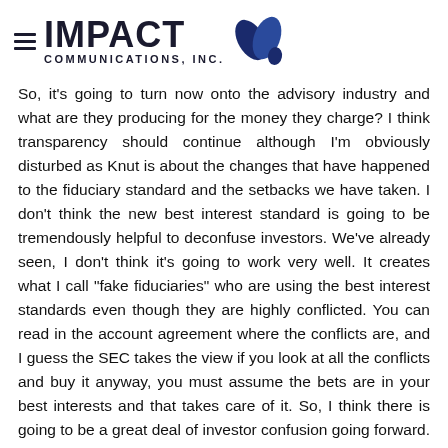IMPACT COMMUNICATIONS, INC.
So, it's going to turn now onto the advisory industry and what are they producing for the money they charge? I think transparency should continue although I'm obviously disturbed as Knut is about the changes that have happened to the fiduciary standard and the setbacks we have taken. I don't think the new best interest standard is going to be tremendously helpful to deconfuse investors. We've already seen, I don't think it's going to work very well. It creates what I call "fake fiduciaries" who are using the best interest standards even though they are highly conflicted. You can read in the account agreement where the conflicts are, and I guess the SEC takes the view if you look at all the conflicts and buy it anyway, you must assume the bets are in your best interests and that takes care of it. So, I think there is going to be a great deal of investor confusion going forward. We've taken a big step back